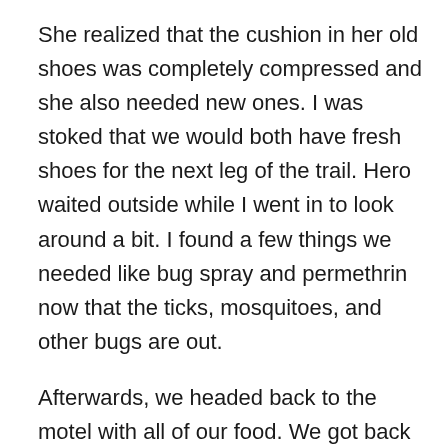She realized that the cushion in her old shoes was completely compressed and she also needed new ones. I was stoked that we would both have fresh shoes for the next leg of the trail. Hero waited outside while I went in to look around a bit. I found a few things we needed like bug spray and permethrin now that the ticks, mosquitoes, and other bugs are out.
Afterwards, we headed back to the motel with all of our food. We got back then sorted and packed our resupply. We were feeling pretty drained and really just wanted to chill. We turned on the TV and stumbled upon a Hunger Games marathon while channel surfing and immediately got sucked in. We both realized we weren't getting any more work done…
A couple of hours later, we were getting hungry and really